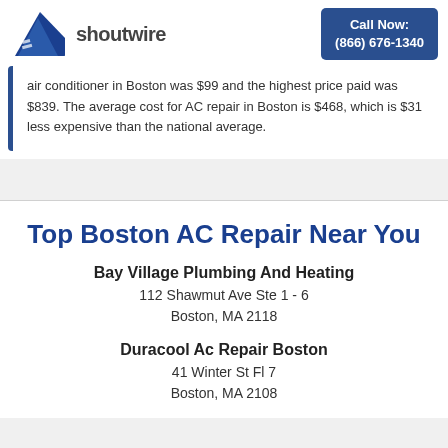[Figure (logo): Shoutwire logo with blue eagle/wing icon and 'shoutwire' text]
Call Now: (866) 676-1340
air conditioner in Boston was $99 and the highest price paid was $839. The average cost for AC repair in Boston is $468, which is $31 less expensive than the national average.
Top Boston AC Repair Near You
Bay Village Plumbing And Heating
112 Shawmut Ave Ste 1 - 6
Boston, MA 2118
Duracool Ac Repair Boston
41 Winter St Fl 7
Boston, MA 2108